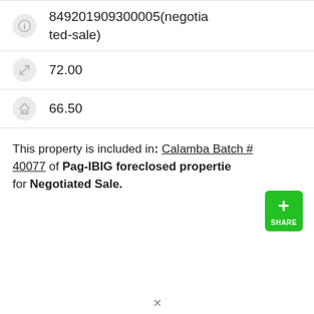849201909300005(negotiated-sale)
72.00
66.50
This property is included in: Calamba Batch #40077 of Pag-IBIG foreclosed properties for Negotiated Sale.